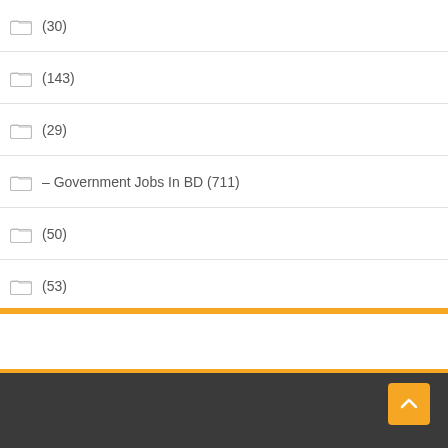(30)
(143)
(29)
– Government Jobs In BD (711)
(50)
(53)
(406)
(7)
(37)
(6)
(8)